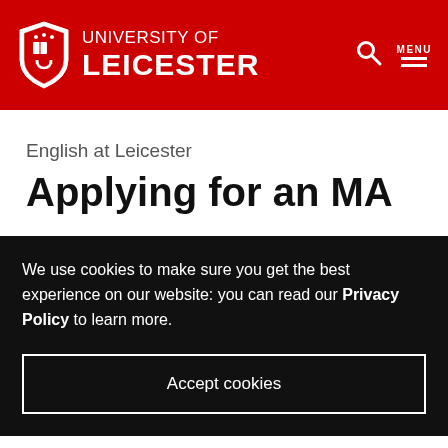University of Leicester
English at Leicester
Applying for an MA
We use cookies to make sure you get the best experience on our website: you can read our Privacy Policy to learn more.
Accept cookies